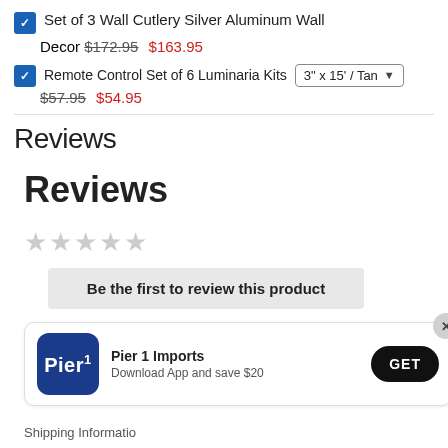Set of 3 Wall Cutlery Silver Aluminum Wall Decor $172.95 $163.95
Remote Control Set of 6 Luminaria Kits 3" x 15' / Tan $57.95 $54.95
Reviews
Reviews
★★★★★ (empty stars)
Be the first to review this product
[Figure (other): Pier 1 Imports app promotion banner with logo, text 'Pier 1 Imports Download App and save $20', and GET button]
Shipping Information